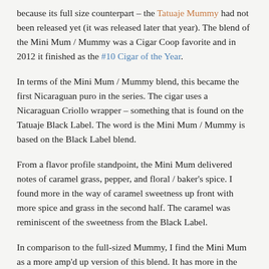because its full size counterpart – the Tatuaje Mummy had not been released yet (it was released later that year).  The blend of the Mini Mum / Mummy was a Cigar Coop favorite and in 2012 it finished as the #10 Cigar of the Year.
In terms of the Mini Mum / Mummy blend, this became the first Nicaraguan puro in the series.  The cigar uses a Nicaraguan Criollo wrapper – something that is found on the Tatuaje Black Label.  The word is the Mini Mum / Mummy is based on the Black Label blend.
From a flavor profile standpoint, the Mini Mum delivered notes of caramel grass, pepper, and floral / baker's spice.  I found more in the way of caramel sweetness up front with more spice and grass in the second half.  The caramel was reminiscent of the sweetness from the Black Label.
In comparison to the full-sized Mummy, I find the Mini Mum as a more amp'd up version of this blend.  It has more in the way of spice, strength, and body.  On the other hand, with nearly two years of age, I found the Mini Mum itself to be a a little more dialed back now.  This is a cigar that is medium to full in both strength and body.